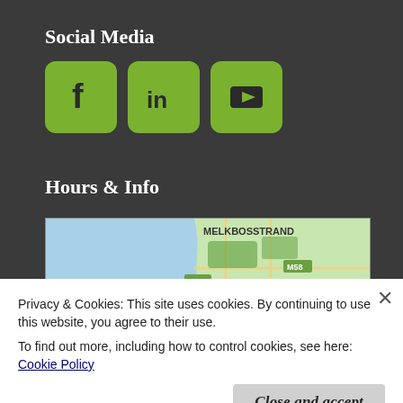Social Media
[Figure (illustration): Three green rounded-square social media icons: Facebook (f), LinkedIn (in), and YouTube (play button triangle)]
Hours & Info
[Figure (map): Google Maps view showing Melkbosstrand area with roads M58 and R27 visible, blue water on the left and green land on the right]
Privacy & Cookies: This site uses cookies. By continuing to use this website, you agree to their use.
To find out more, including how to control cookies, see here: Cookie Policy
Close and accept